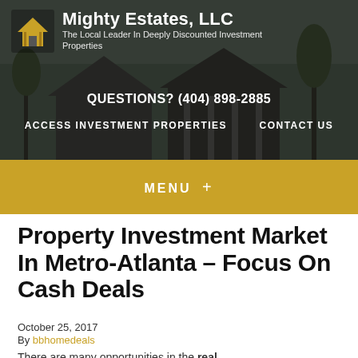Mighty Estates, LLC
The Local Leader In Deeply Discounted Investment Properties
QUESTIONS? (404) 898-2885
ACCESS INVESTMENT PROPERTIES   CONTACT US
MENU +
Property Investment Market In Metro-Atlanta – Focus On Cash Deals
October 25, 2017
By bbhomedeals
There are many opportunities in the real